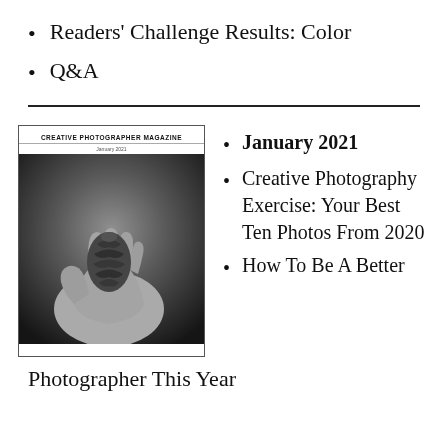Readers' Challenge Results: Color
Q&A
[Figure (photo): Magazine cover of Creative Photographer Magazine showing a black and white photo of a hand holding a pine cone]
January 2021
Creative Photography Exercise: Your Best Ten Photos From 2020
How To Be A Better Photographer This Year